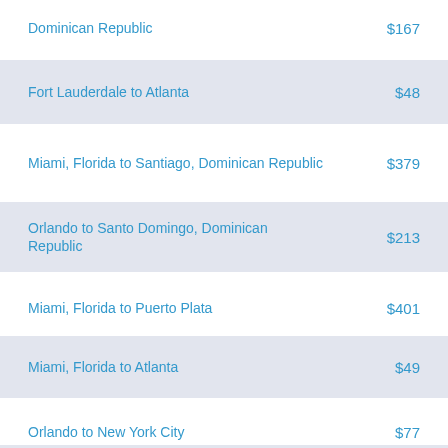Dominican Republic
Fort Lauderdale to Atlanta
Miami, Florida to Santiago, Dominican Republic
Orlando to Santo Domingo, Dominican Republic
Miami, Florida to Puerto Plata
Miami, Florida to Atlanta
Orlando to New York City
Fort Lauderdale to Santiago, Dominican Republic